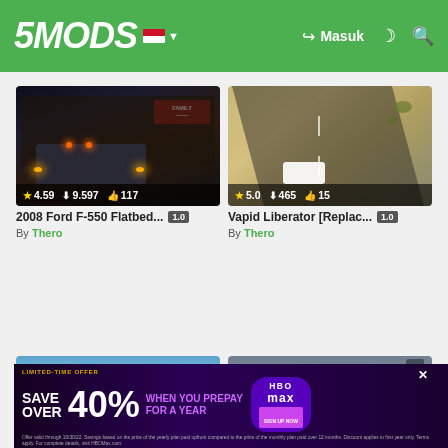5MODS — Masuk
[Figure (screenshot): GTA V mod screenshot: truck with headlights at nighttime parking lot near Family store]
4.59  9.597  117
2008 Ford F-550 Flatbed...  1.0
By Thero
[Figure (screenshot): GTA V mod screenshot: aerial view of white truck on desert highway]
5.0  465  15
Vapid Liberator [Replac...  1.0
By Thero
[Figure (screenshot): GTA V mod screenshot: sky and desert landscape]
[Figure (screenshot): GTA V mod screenshot: building exterior with garage door]
[Figure (infographic): HBO Max advertisement: LIMITED-TIME OFFER SAVE OVER 40% WHEN YOU PREPAY FOR A YEAR]